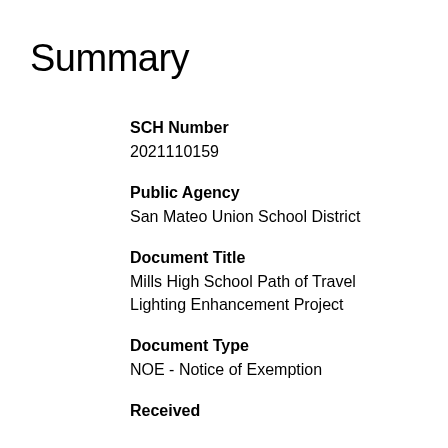Summary
SCH Number
2021110159
Public Agency
San Mateo Union School District
Document Title
Mills High School Path of Travel Lighting Enhancement Project
Document Type
NOE - Notice of Exemption
Received